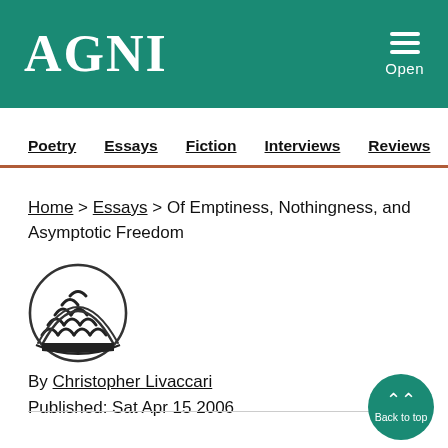AGNI
Poetry
Essays
Fiction
Interviews
Reviews
Home > Essays > Of Emptiness, Nothingness, and Asymptotic Freedom
[Figure (illustration): Circular author avatar with a Japanese wave pattern in black and white]
By Christopher Livaccari
Published: Sat Apr 15 2006